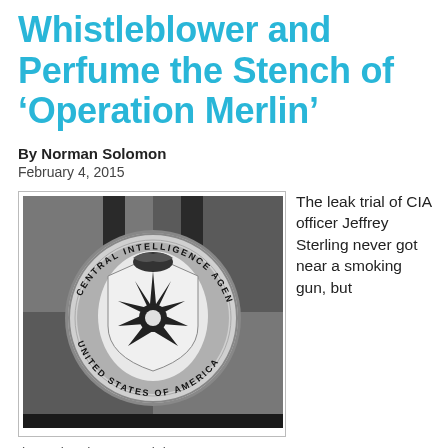Whistleblower and Perfume the Stench of ‘Operation Merlin’
By Norman Solomon
February 4, 2015
[Figure (photo): CIA headquarters lobby floor showing the Central Intelligence Agency seal/logo embedded in the floor - eagle with shield and compass rose, text reading CENTRAL INTELLIGENCE AGENCY UNITED STATES OF AMERICA]
The leak trial of CIA officer Jeffrey Sterling never got near a smoking gun, but
the entire circumstantial case was ...